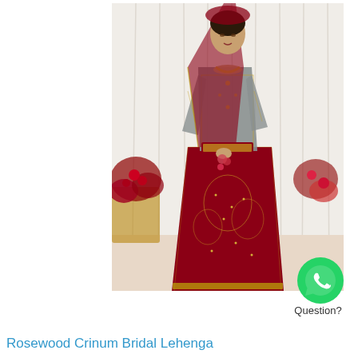[Figure (photo): A woman wearing an elaborate Pakistani/South Asian bridal lehenga in deep maroon/burgundy and gold with heavy embroidery and embellishments, holding a small bouquet, standing against a white curtain background with floral arrangements on the sides.]
[Figure (logo): Green circular WhatsApp logo button]
Question?
Rosewood Crinum Bridal Lehenga